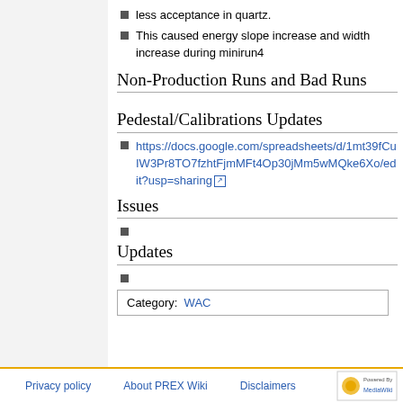This caused energy slope increase and width increase during minirun4
Non-Production Runs and Bad Runs
Pedestal/Calibrations Updates
https://docs.google.com/spreadsheets/d/1mt39fCuIW3Pr8TO7fzhtFjmMFt4Op30jMm5wMQke6Xo/edit?usp=sharing
Issues
Updates
Category:  WAC
Privacy policy    About PREX Wiki    Disclaimers